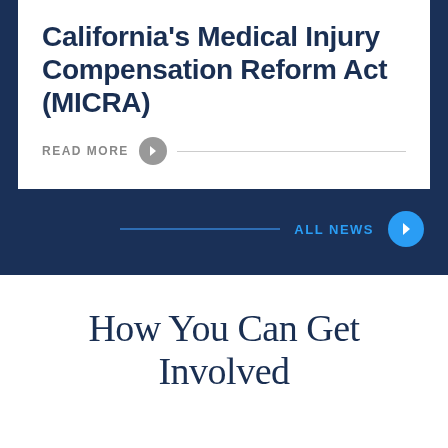California's Medical Injury Compensation Reform Act (MICRA)
READ MORE
ALL NEWS
How You Can Get Involved